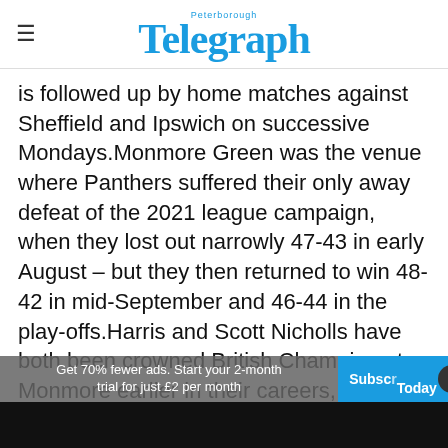Peterborough Telegraph
is followed up by home matches against Sheffield and Ipswich on successive Mondays.Monmore Green was the venue where Panthers suffered their only away defeat of the 2021 league campaign, when they lost out narrowly 47-43 in early August – but they then returned to win 48-42 in mid-September and 46-44 in the play-offs.Harris and Scott Nicholls have both been crowned British Champion at Monmore earlier in their careers, and Hans Andersen alsofinalled and confirmed his i
Get 70% fewer ads. Start your 2-month trial for just £2 per month
Subscribe Today